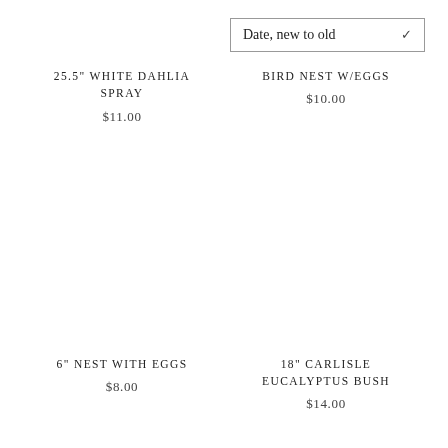Date, new to old
25.5" WHITE DAHLIA SPRAY
$11.00
BIRD NEST W/EGGS
$10.00
6" NEST WITH EGGS
$8.00
18" CARLISLE EUCALYPTUS BUSH
$14.00